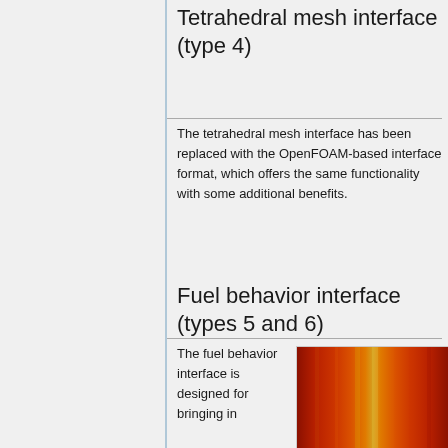Tetrahedral mesh interface (type 4)
The tetrahedral mesh interface has been replaced with the OpenFOAM-based interface format, which offers the same functionality with some additional benefits.
Fuel behavior interface (types 5 and 6)
The fuel behavior interface is designed for bringing in
[Figure (photo): Heat map visualization showing vertical color bands ranging from dark red on the sides to orange and yellow-gold in the center, representing a thermal or fuel behavior gradient.]